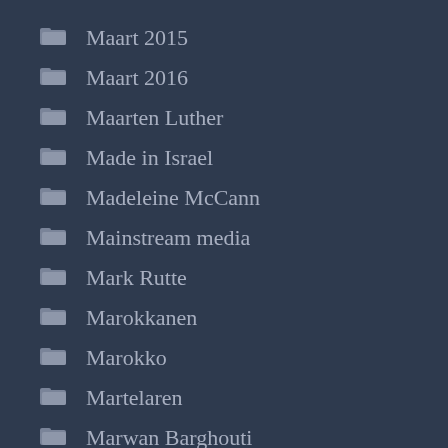Maart 2015
Maart 2016
Maarten Luther
Made in Israel
Madeleine McCann
Mainstream media
Mark Rutte
Marokkanen
Marokko
Martelaren
Marwan Barghouti
Mary Robinson
Matthew
Matthijs van Nieuwkerk